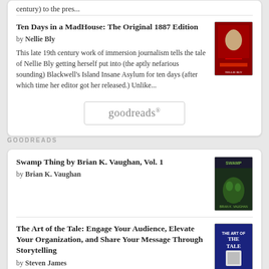century) to the pres...
Ten Days in a MadHouse: The Original 1887 Edition
by Nellie Bly
This late 19th century work of immersion journalism tells the tale of Nellie Bly getting herself put into (the aptly nefarious sounding) Blackwell's Island Insane Asylum for ten days (after which time her editor got her released.) Unlike...
[Figure (logo): goodreads logo button]
GOODREADS
Swamp Thing by Brian K. Vaughan, Vol. 1
by Brian K. Vaughan
[Figure (illustration): Book cover for Swamp Thing]
The Art of the Tale: Engage Your Audience, Elevate Your Organization, and Share Your Message Through Storytelling
by Steven James
[Figure (illustration): Book cover for The Art of the Tale]